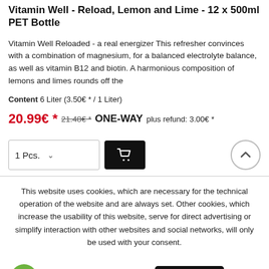Vitamin Well - Reload, Lemon and Lime - 12 x 500ml PET Bottle
Vitamin Well Reloaded - a real energizer This refresher convinces with a combination of magnesium, for a balanced electrolyte balance, as well as vitamin B12 and biotin. A harmonious composition of lemons and limes rounds off the
Content 6 Liter (3.50€ * / 1 Liter)
20.99€ * 21.48€ * ONE-WAY plus refund: 3.00€ *
[Figure (screenshot): Quantity selector showing '1 Pcs.' with dropdown arrow, black cart button with shopping cart icon, and circular scroll-to-top button]
This website uses cookies, which are necessary for the technical operation of the website and are always set. Other cookies, which increase the usability of this website, serve for direct advertising or simplify interaction with other websites and social networks, will only be used with your consent.
[Figure (screenshot): Cookie consent buttons: green circle icon, Decline, Accept all, Configure (black button)]